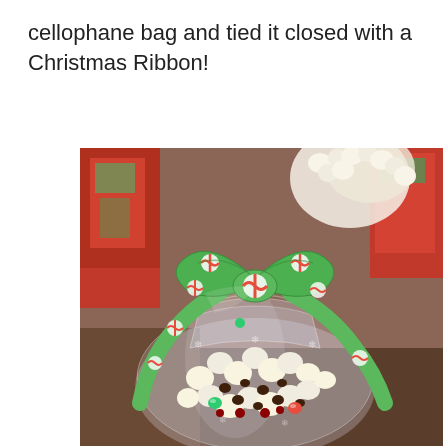cellophane bag and tied it closed with a Christmas Ribbon!
[Figure (photo): A clear cellophane bag filled with Christmas popcorn mix (white chocolate-covered popcorn, M&Ms, chocolate chips) tied closed with a green ribbon decorated with red peppermint candy patterns. Christmas-themed decorations visible in the blurred background.]